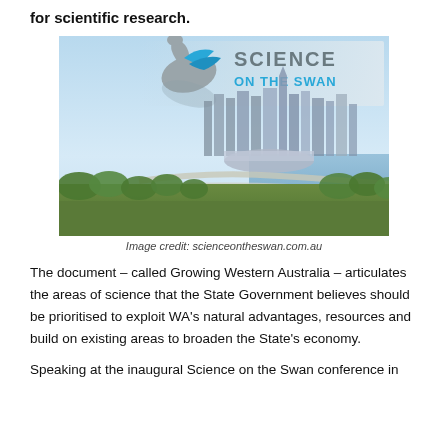for scientific research.
[Figure (photo): Science on the Swan conference logo with swan graphic and city skyline of Perth, Western Australia in the background]
Image credit: scienceontheswan.com.au
The document – called Growing Western Australia – articulates the areas of science that the State Government believes should be prioritised to exploit WA's natural advantages, resources and build on existing areas to broaden the State's economy.
Speaking at the inaugural Science on the Swan conference in